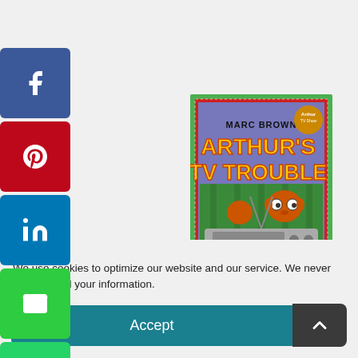[Figure (illustration): Book cover of 'Arthur's TV Trouble' by Marc Brown showing Arthur and characters around a television, with green border and yellow title text]
We use cookies to optimize our website and our service. We never share or sell your information.
Accept